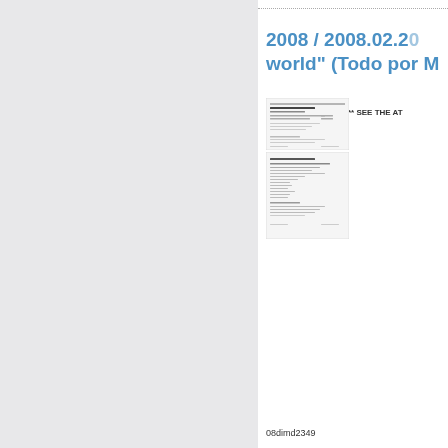2008 / 2008.02.20 world" (Todo por M
** SEE THE AT
[Figure (screenshot): Thumbnail of a document page 1]
[Figure (screenshot): Thumbnail of a document page 2]
08dimd2349